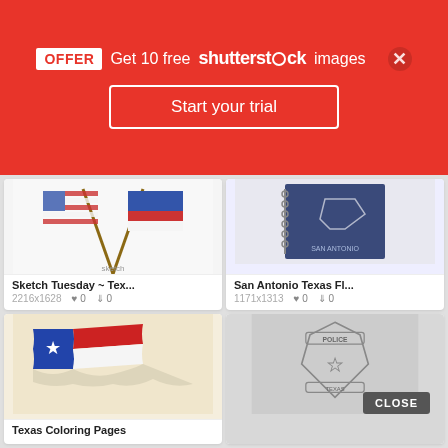[Figure (screenshot): Shutterstock promotional banner with red background showing OFFER box, 'Get 10 free shutterstock images' text, and 'Start your trial' button]
[Figure (screenshot): Grid of stock image cards showing Texas-themed images: crossed US and Texas flags sketch, San Antonio Texas flag notebook, Texas coloring pages flag, and police badge sketch]
Sketch Tuesday ~ Tex...
2216x1628  ♥ 0  ⬇ 0
San Antonio Texas Fl...
1171x1313  ♥ 0  ⬇ 0
Texas Coloring Pages
CLOSE